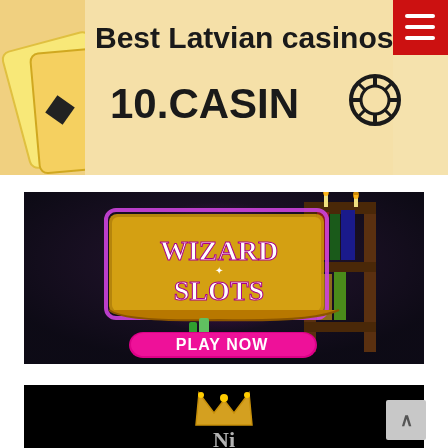[Figure (screenshot): Website header banner with cream/gold background showing playing cards on left, text 'Best Latvian casinos' and '10.CASINO' with chip icon, and red hamburger menu button top-right]
[Figure (screenshot): Wizard Slots casino game banner with dark mystical background, glowing 'WIZARD SLOTS' logo in gold/purple, bookshelf with candles, and pink 'PLAY NOW' button]
[Figure (screenshot): Bottom portion of another casino banner showing black background with a gold crown and partial white text below it]